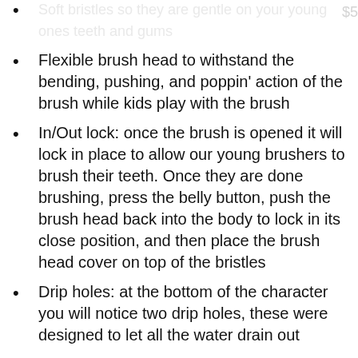Soft bristles so they are gentle on your young ones teeth and gums
Flexible brush head to withstand the bending, pushing, and poppin' action of the brush while kids play with the brush
In/Out lock: once the brush is opened it will lock in place to allow our young brushers to brush their teeth. Once they are done brushing, press the belly button, push the brush head back into the body to lock in its close position, and then place the brush head cover on top of the bristles
Drip holes: at the bottom of the character you will notice two drip holes, these were designed to let all the water drain out
Standing design: all our character can free stand on their own, eliminating toothbrush holder in the bathroom
BPA free: safety is first on our mind and we have developed all our products to be safe for your